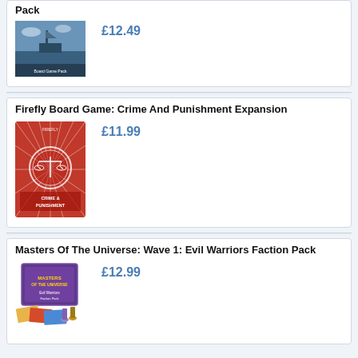Pack
[Figure (photo): Product image for a board game pack, showing a harbor/nautical scene]
£12.49
Firefly Board Game: Crime And Punishment Expansion
[Figure (photo): Product image for Firefly Crime & Punishment Expansion — red poster-style artwork with scales of justice]
£11.99
Masters Of The Universe: Wave 1: Evil Warriors Faction Pack
[Figure (photo): Product image for Masters of the Universe Evil Warriors Faction Pack showing box and miniature figures]
£12.99